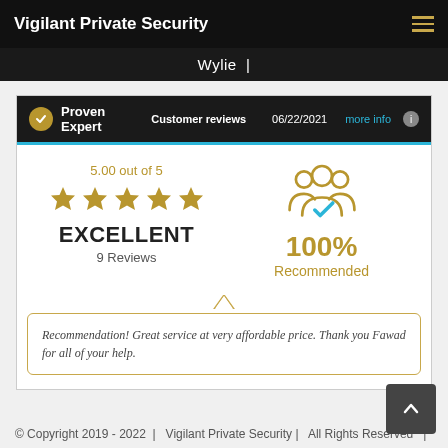Vigilant Private Security
Wylie |
[Figure (screenshot): ProvenExpert customer reviews widget showing 5.00 out of 5 stars, EXCELLENT rating, 9 Reviews, 100% Recommended, dated 06/22/2021. Includes a quote: 'Recommendation! Great service at very affordable price. Thank you Fawad for all of your help.']
© Copyright 2019 - 2022  |  Vigilant Private Security |  All Rights Reserved  |  Designed by Noor Infotech